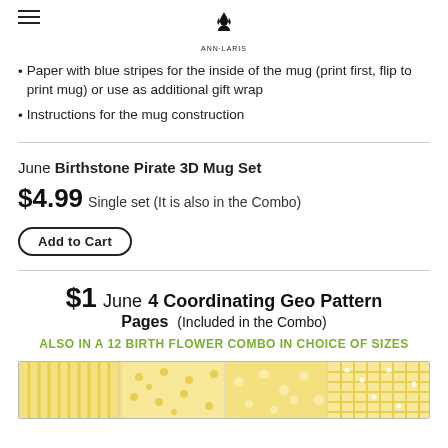AnnLaris [logo]
Paper with blue stripes for the inside of the mug (print first, flip to print mug) or use as additional gift wrap
Instructions for the mug construction
JUNE BIRTHSTONE PIRATE 3D MUG SET
$4.99 Single set (It is also in the Combo)
Add to Cart
$1 JUNE 4 COORDINATING GEO PATTERN PAGES (Included in the Combo)
ALSO IN A 12 BIRTH FLOWER COMBO IN CHOICE OF SIZES
[Figure (illustration): Preview of yellow/gold geometric pattern pages showing stripes, dots, and plaid patterns]